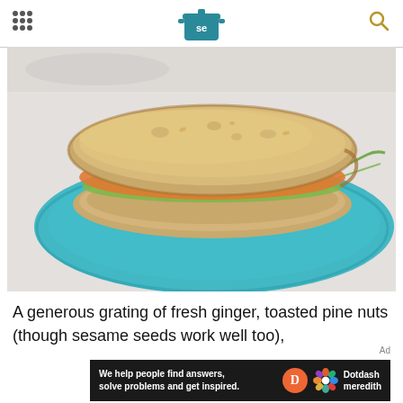Serious Eats logo and navigation
[Figure (photo): A sandwich with spiced filling, greens, on teal plate, overhead/side angle, marble background]
A generous grating of fresh ginger, toasted pine nuts (though sesame seeds work well too),
Ad
[Figure (infographic): Dotdash Meredith advertisement banner: 'We help people find answers, solve problems and get inspired.']